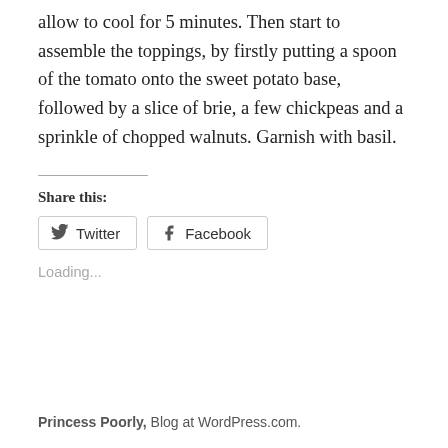allow to cool for 5 minutes. Then start to assemble the toppings, by firstly putting a spoon of the tomato onto the sweet potato base, followed by a slice of brie, a few chickpeas and a sprinkle of chopped walnuts. Garnish with basil.
Share this:
Twitter  Facebook
Loading...
Princess Poorly, Blog at WordPress.com.